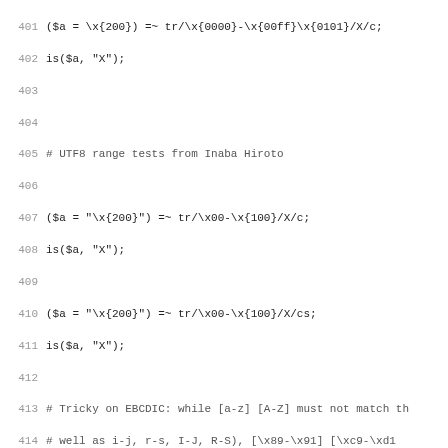Source code listing, lines 401–433, showing Perl test code for UTF8 range tests and EBCDIC-centric tests.